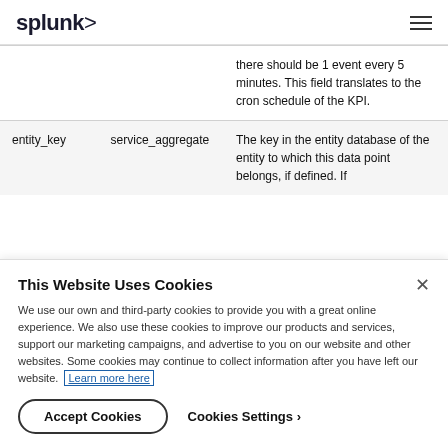splunk>
|  |  |  |
| --- | --- | --- |
|  |  | there should be 1 event every 5 minutes. This field translates to the cron schedule of the KPI. |
| entity_key | service_aggregate | The key in the entity database of the entity to which this data point belongs, if defined. If |
This Website Uses Cookies
We use our own and third-party cookies to provide you with a great online experience. We also use these cookies to improve our products and services, support our marketing campaigns, and advertise to you on our website and other websites. Some cookies may continue to collect information after you have left our website. Learn more here
Accept Cookies    Cookies Settings ›